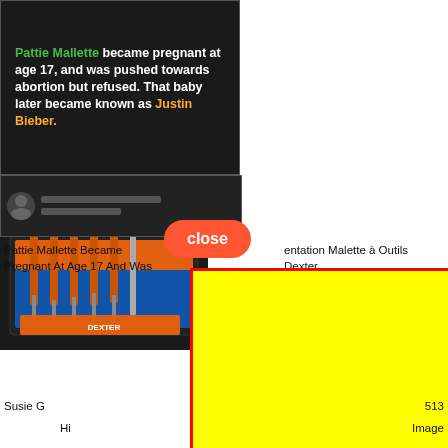[Figure (screenshot): Dark background image with bold white text. Green text 'Pattie Mallette' followed by white bold text: 'became pregnant at age 17, and was pushed towards abortion but refused. That baby later became known as' followed by orange text 'Justin Bieber.']
[Figure (photo): Photo of orange and black screwdriver set (Dexter brand) with multiple screwdrivers/bits arranged in a case, with a hand holding a screwdriver tip visible at top.]
[Figure (screenshot): Dark partial thumbnail image at bottom left.]
close
Pattie Mallette Became
Pregnant At Age 17 And Was
entation Malette à Outils
Dexter
[Figure (other): Large yellow rectangle with thick red border overlaying the lower portion of the page.]
Susie G
513
Hi
Image